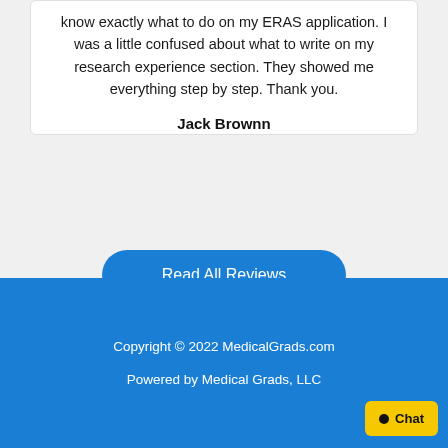know exactly what to do on my ERAS application. I was a little confused about what to write on my research experience section. They showed me everything step by step. Thank you.
Jack Brownn
Read All Reviews
Copyright © 2022 MedicalGrads.com
Powered by Medical Grads, LLC